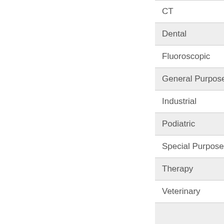| CT |
| Dental |
| Fluoroscopic |
| General Purpose |
| Industrial |
| Podiatric |
| Special Purpose |
| Therapy |
| Veterinary |